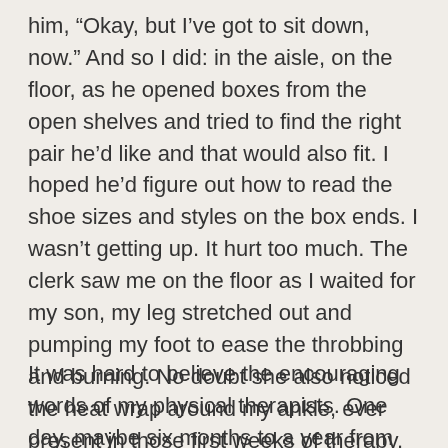him, “Okay, but I’ve got to sit down, now.” And so I did: in the aisle, on the floor, as he opened boxes from the open shelves and tried to find the right pair he’d like and that would also fit. I hoped he’d figure out how to read the shoe sizes and styles on the box ends. I wasn’t getting up. It hurt too much. The clerk saw me on the floor as I waited for my son, my leg stretched out and pumping my foot to ease the throbbing and burning. No doubt she also noticed the heat wrap around my ankle, ever present in those first weeks of therapy. “There’s a bench over there,” she offered, pointing two aisles away passed the men’s running shoes. “It’s okay,” I told her. “The floor is closer.”
It was hard to believe the encouraging words of my physical therapists. One day, maybe six months to a year from now, I will be well, they told me. I felt like the